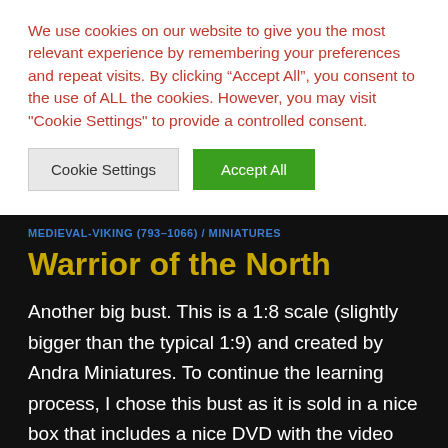We use cookies on our website to give you the most relevant experience by remembering your preferences and repeat visits. By clicking “Accept All”, you consent to the use of ALL the cookies. However, you may visit "Cookie Settings" to provide a controlled consent.
Cookie Settings
Accept All
MEDIEVAL-VIKING (793–1066) / MINIATURES
Warrior of the North
Another big bust. This is a 1:8 scale (slightly bigger than the typical 1:9) and created by Andra Miniatures. To continue the learning process, I chose this bust as it is sold in a nice box that includes a nice DVD with the video tutorial that shows most of the painting process. I still have a